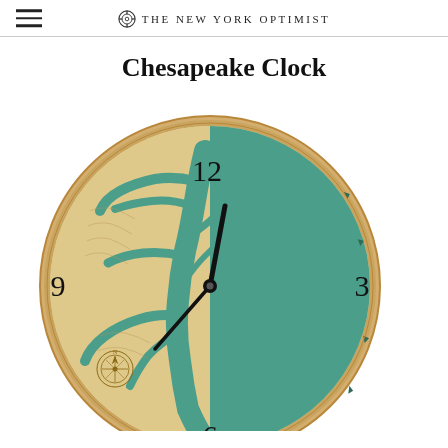THE NEW YORK OPTIMIST
Chesapeake Clock
[Figure (photo): A circular wooden wall clock featuring a laser-engraved map of the Chesapeake Bay region. The left half shows the detailed topographic map in light wood tones, while the right half is painted teal/green. The clock shows the numerals 12, 3, 6, and 9, with black clock hands pointing roughly to 12:30. A compass rose is visible in the lower-left area of the map.]